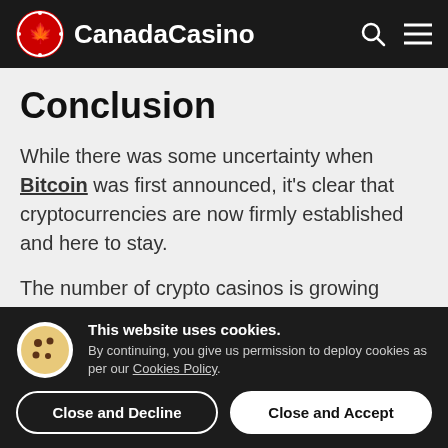CanadaCasino
Conclusion
While there was some uncertainty when Bitcoin was first announced, it's clear that cryptocurrencies are now firmly established and here to stay.
The number of crypto casinos is growing across the online casino market, including
This website uses cookies. By continuing, you give us permission to deploy cookies as per our Cookies Policy.